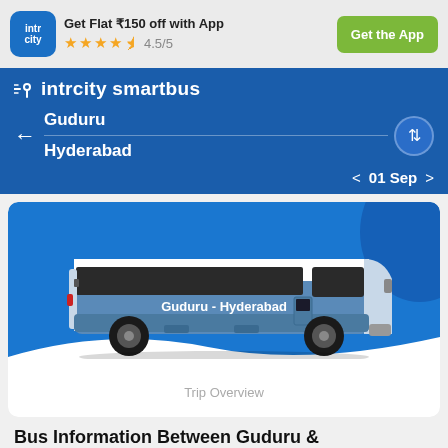[Figure (screenshot): IntrCity app top banner with logo, offer text, star rating, and Get the App button]
Get Flat ₹150 off with App
4.5/5
Get the App
[Figure (logo): IntrCity SmartBus logo with location pin icon]
Guduru
Hyderabad
01 Sep
[Figure (illustration): Illustration of a blue and white intercity SmartBus with text 'Guduru - Hyderabad' on its side, on a blue background with white wave]
Trip Overview
Bus Information Between Guduru &